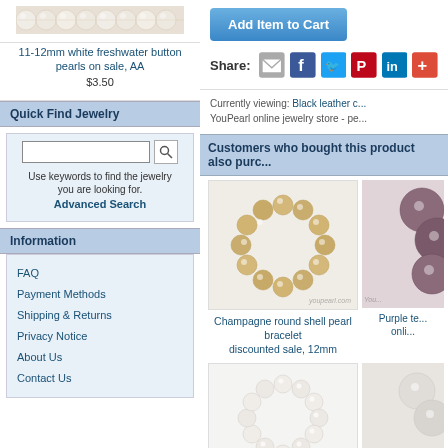[Figure (photo): Pearl strand product thumbnail - 11-12mm white freshwater button pearls]
11-12mm white freshwater button pearls on sale, AA
$3.50
Quick Find Jewelry
Use keywords to find the jewelry you are looking for. Advanced Search
Information
FAQ
Payment Methods
Shipping & Returns
Privacy Notice
About Us
Contact Us
Add Item to Cart
Share:
Currently viewing: Black leather c... YouPearl online jewelry store - pe...
Customers who bought this product also purc...
[Figure (photo): Champagne round shell pearl bracelet, circular arrangement of golden/champagne colored pearls]
Champagne round shell pearl bracelet discounted sale, 12mm
[Figure (photo): Purple tear...  partial product image on right side]
Purple te... onli...
[Figure (photo): White round shell pearl bracelet, circular arrangement of white pearls with silver clasp]
[Figure (photo): Partial second product image, bottom right]